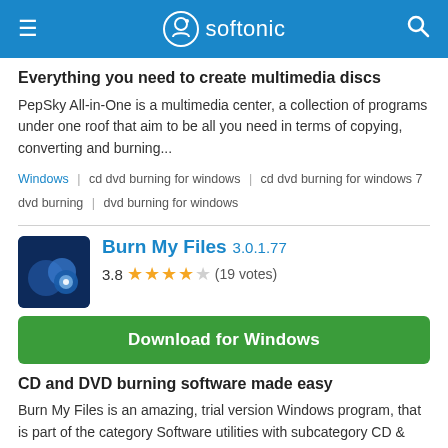softonic
Everything you need to create multimedia discs
PepSky All-in-One is a multimedia center, a collection of programs under one roof that aim to be all you need in terms of copying, converting and burning...
Windows | cd dvd burning for windows | cd dvd burning for windows 7 dvd burning | dvd burning for windows
Burn My Files 3.0.1.77
3.8 ★★★★☆ (19 votes)
Download for Windows
CD and DVD burning software made easy
Burn My Files is an amazing, trial version Windows program, that is part of the category Software utilities with subcategory CD & DVD (more specifically...
Windows | burning | burning for windows | cd burner